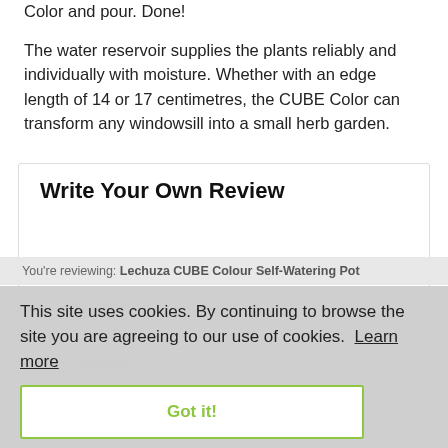Color and pour. Done!
The water reservoir supplies the plants reliably and individually with moisture. Whether with an edge length of 14 or 17 centimetres, the CUBE Color can transform any windowsill into a small herb garden.
Write Your Own Review
You're reviewing: Lechuza CUBE Colour Self-Watering Pot
This site uses cookies. By continuing to browse the site you are agreeing to our use of cookies.  Learn more
Got it!